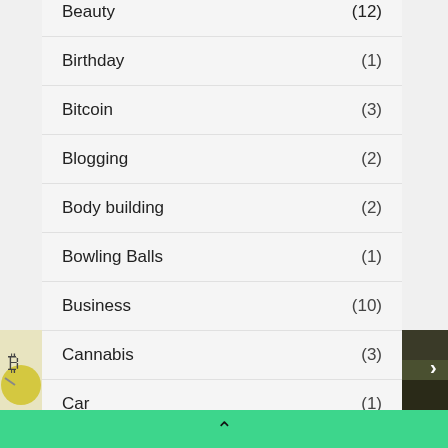Beauty (12)
Birthday (1)
Bitcoin (3)
Blogging (2)
Body building (2)
Bowling Balls (1)
Business (10)
Cannabis (3)
Car (1)
Care (1)
[Figure (illustration): Partial image on left side showing a yellow smiley/logo icon]
[Figure (photo): Partial photo on right side, dark outdoor scene]
^ (scroll to top arrow on green bar)